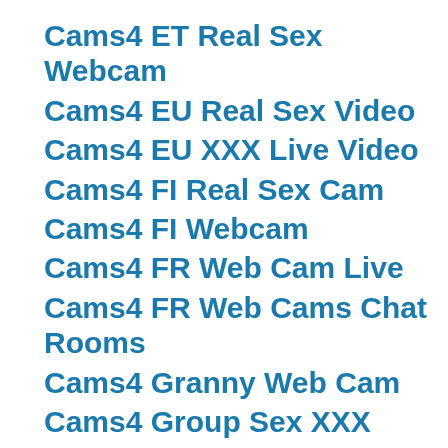Cams4 ET Real Sex Webcam
Cams4 EU Real Sex Video
Cams4 EU XXX Live Video
Cams4 FI Real Sex Cam
Cams4 FI Webcam
Cams4 FR Web Cam Live
Cams4 FR Web Cams Chat Rooms
Cams4 Granny Web Cam
Cams4 Group Sex XXX
Cams4 Hairy Pussy Web Cam